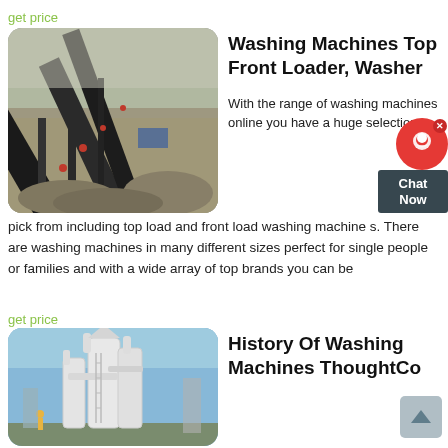get price
[Figure (photo): Industrial conveyor belts and machinery processing gravel/stone at a mining or quarry site]
Washing Machines Top Front Loader, Washer
With the range of washing machines online you have a huge selection to pick from including top load and front load washing machine s. There are washing machines in many different sizes perfect for single people or families and with a wide array of top brands you can be
get price
[Figure (photo): Industrial dust collector or grain processing equipment with white cylindrical towers against a blue sky]
History Of Washing Machines ThoughtCo